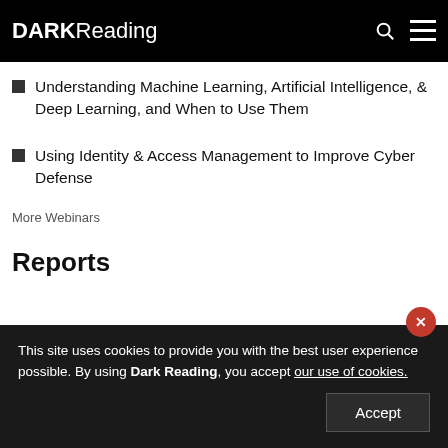DARK Reading
Understanding Machine Learning, Artificial Intelligence, & Deep Learning, and When to Use Them
Using Identity & Access Management to Improve Cyber Defense
More Webinars
Reports
This site uses cookies to provide you with the best user experience possible. By using Dark Reading, you accept our use of cookies.